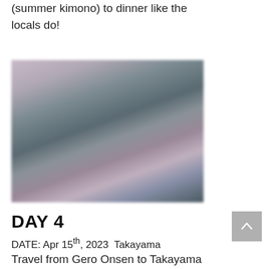(summer kimono) to dinner like the locals do!
[Figure (photo): Blurred outdoor photo showing cherry blossoms and buildings in springtime Japan]
DAY 4
DATE: Apr 15th, 2023  Takayama
Travel from Gero Onsen to Takayama by limited express train taking in magnificent springtime views on the